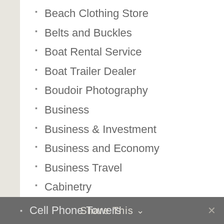Beach Clothing Store
Belts and Buckles
Boat Rental Service
Boat Trailer Dealer
Boudoir Photography
Business
Business & Investment
Business and Economy
Business Travel
Cabinetry
Call Centers
Cameras and Camcorders
Camping
Canopies
Carpet Cleaning Service
Cell Phone Towers
Chiropractic